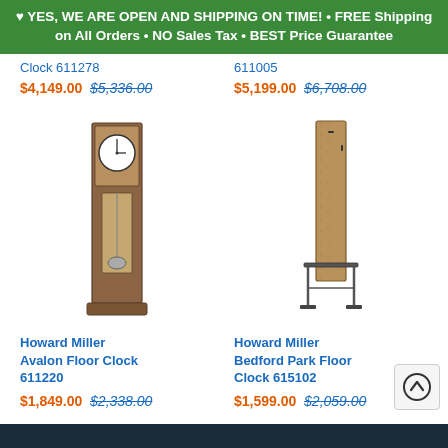♥ YES, WE ARE OPEN AND SHIPPING ON TIME! • FREE Shipping on All Orders • NO Sales Tax • BEST Price Guarantee
Clock 611278
611005
$4,149.00 $5,336.00
$5,199.00 $6,708.00
[Figure (photo): Howard Miller Avalon Floor Clock 611220 - tall grandfather clock with round clock face, dark wood case]
[Figure (photo): Howard Miller Bedford Park Floor Clock 615102 - modern floor clock with wooden rectangular case and metal stand]
Howard Miller Avalon Floor Clock 611220
Howard Miller Bedford Park Floor Clock 615102
$1,849.00 $2,338.00
$1,599.00 $2,059.00